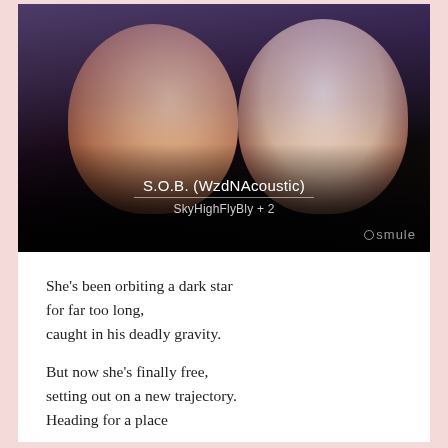[Figure (photo): Photo of two people with headphones on, dark background with purple/blue tint. Text overlay reads 'S.O.B. (WzdNAcoustic)' with a divider line, then 'SkyHighFlyBly + 2' below. Smule logo in bottom right corner.]
She’s been orbiting a dark star for far too long, caught in his deadly gravity.

But now she’s finally free, setting out on a new trajectory. Heading for a place